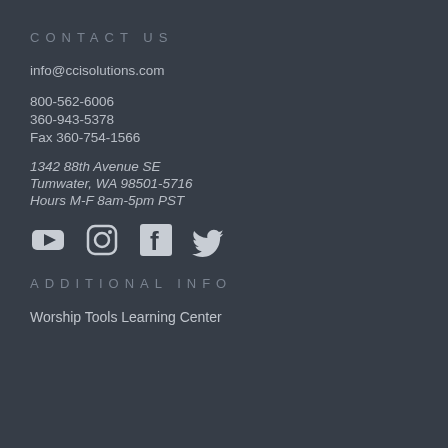CONTACT US
info@ccisolutions.com
800-562-6006
360-943-5378
Fax 360-754-1566
1342 88th Avenue SE
Tumwater, WA 98501-5716
Hours M-F 8am-5pm PST
[Figure (illustration): Social media icons: YouTube, Instagram, Facebook, Twitter]
ADDITIONAL INFO
Worship Tools Learning Center